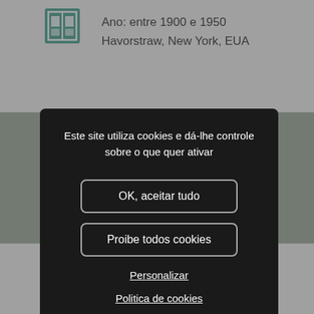Ano: entre 1900 e 1950
Havorstraw, New York, EUA
Este site utiliza cookies e dá-lhe controle sobre o que quer ativar
OK, aceitar tudo
Proibe todos cookies
Personalizar
Politica de cookies
PALERMO Gina